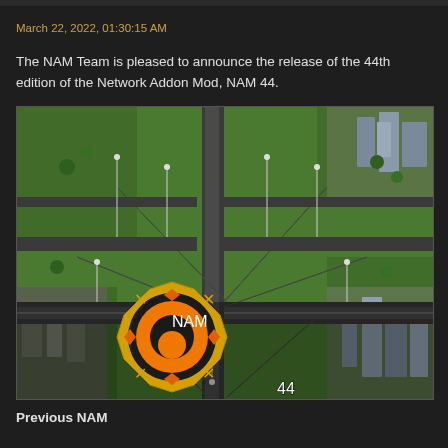March 22, 2022, 01:30:15 AM
The NAM Team is pleased to announce the release of the 44th edition of the Network Addon Mod, NAM 44.
[Figure (screenshot): Aerial view of a SimCity-style city with highway interchanges and road networks. In the bottom portion of the image, the NAM logo (orange flower/gear icon with 'NAM' text) and large white '44' text are overlaid on the city image.]
Previous NAM